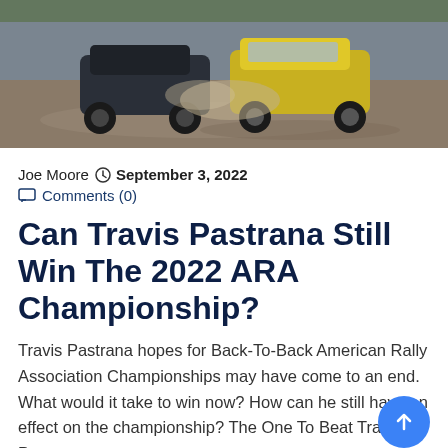[Figure (photo): Two rally cars racing on a dirt track, one dark colored and one yellow, kicking up dust]
Joe Moore   September 3, 2022
Comments (0)
Can Travis Pastrana Still Win The 2022 ARA Championship?
Travis Pastrana hopes for Back-To-Back American Rally Association Championships may have come to an end. What would it take to win now? How can he still have an effect on the championship? The One To Beat Travis Pastrana